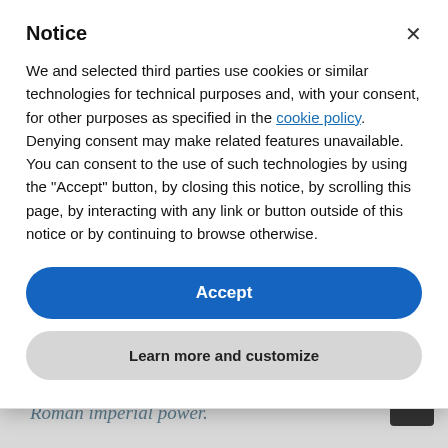get into the space to watch murderous games. And the Colosseum's imposing exterior was then, as it still is, a marvelous monument to Roman imperial power.
Notice
We and selected third parties use cookies or similar technologies for technical purposes and, with your consent, for other purposes as specified in the cookie policy. Denying consent may make related features unavailable.
You can consent to the use of such technologies by using the "Accept" button, by closing this notice, by scrolling this page, by interacting with any link or button outside of this notice or by continuing to browse otherwise.
Accept
Learn more and customize